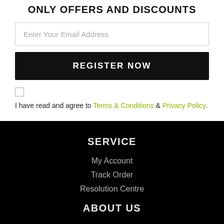ONLY OFFERS AND DISCOUNTS
Enter Your Email Address
REGISTER NOW
I have read and agree to Terms & Conditions & Privacy Policy.
SERVICE
My Account
Track Order
Resolution Centre
ABOUT US
Contact Us